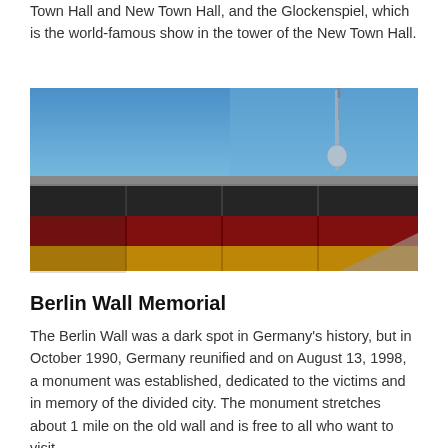Town Hall and New Town Hall, and the Glockenspiel, which is the world-famous show in the tower of the New Town Hall.
[Figure (photo): Photo of the Berlin Wall with the German flag (black, red, gold) painted on it, and a TV tower (Fernsehturm) visible in the background against a blue sky.]
Berlin Wall Memorial
The Berlin Wall was a dark spot in Germany's history, but in October 1990, Germany reunified and on August 13, 1998, a monument was established, dedicated to the victims and in memory of the divided city. The monument stretches about 1 mile on the old wall and is free to all who want to visit.